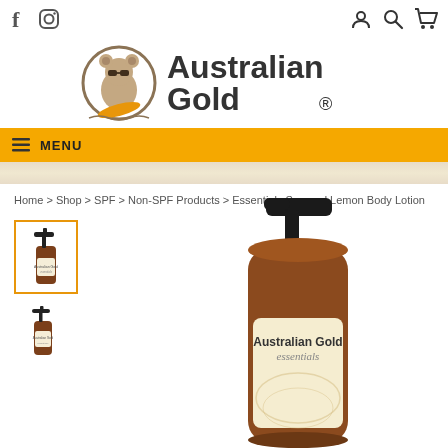[Figure (logo): Social media icons: Facebook (f) and Instagram (camera) on top left. User account, search, and cart icons on top right.]
[Figure (logo): Australian Gold logo with koala mascot wearing sunglasses and the text 'Australian Gold.' in dark gray serif font]
[Figure (infographic): Orange menu bar with hamburger menu icon and 'MENU' text, followed by a decorative wood-grain strip]
Home > Shop > SPF > Non-SPF Products > Essentials Sugared Lemon Body Lotion
[Figure (photo): Small thumbnail of Australian Gold Essentials body lotion pump bottle, selected with orange border]
[Figure (photo): Second smaller thumbnail of the same body lotion bottle]
[Figure (photo): Main large product image: Australian Gold Essentials Sugared Lemon Body Lotion pump bottle with black pump top, amber/brown bottle, cream-colored label with 'Australian Gold essentials' text]